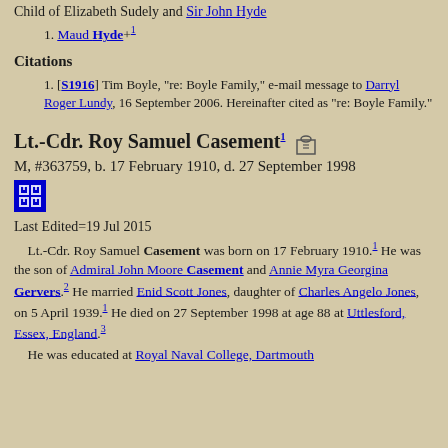Child of Elizabeth Sudely and Sir John Hyde
1. Maud Hyde+1
Citations
1. [S1916] Tim Boyle, "re: Boyle Family," e-mail message to Darryl Roger Lundy, 16 September 2006. Hereinafter cited as "re: Boyle Family."
Lt.-Cdr. Roy Samuel Casement1
M, #363759, b. 17 February 1910, d. 27 September 1998
Last Edited=19 Jul 2015
Lt.-Cdr. Roy Samuel Casement was born on 17 February 1910.1 He was the son of Admiral John Moore Casement and Annie Myra Georgina Gervers.2 He married Enid Scott Jones, daughter of Charles Angelo Jones, on 5 April 1939.1 He died on 27 September 1998 at age 88 at Uttlesford, Essex, England.3
He was educated at Royal Naval College, Dartmouth